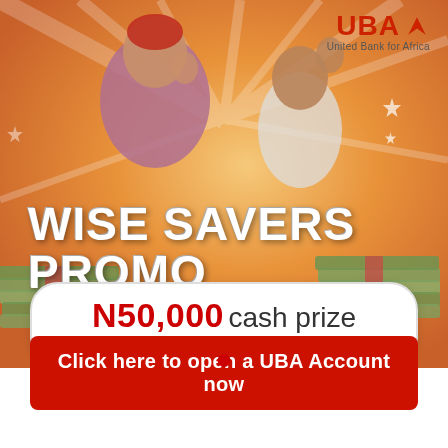[Figure (illustration): Promotional banner image for UBA Wise Savers Promo showing a smiling woman in traditional attire and a young man celebrating, with stacks of cash notes, on a warm gradient background with starburst rays]
[Figure (logo): UBA logo — red UBA text with red triangular arrow icon, and subtitle 'United Bank for Africa']
WISE SAVERS PROMO
N50,000 cash prize for 180 customers
Click here to open a UBA Account now